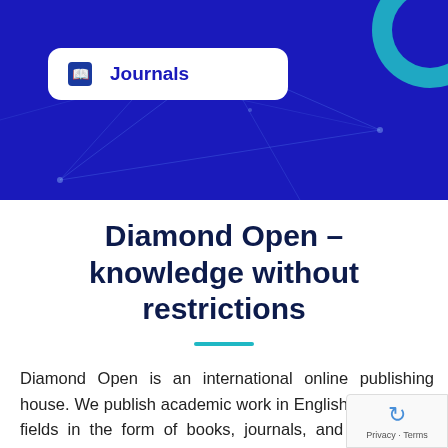[Figure (screenshot): Dark blue header banner with network line decorations, a teal/blue circle in the top right corner, and a white rounded pill button labeled 'Journals' with a book icon]
Diamond Open – knowledge without restrictions
Diamond Open is an international online publishing house. We publish academic work in English a variety of fields in the form of books, journals, and conference proceedings. Our goal is to bring international community of academics, policymakers and members of non- and for-profit organizations